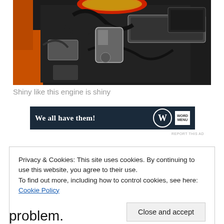[Figure (photo): Close-up photograph of a shiny chrome car engine with a red air filter on top, orange engine bay visible on left side, with various hoses, cables, and chrome components]
Shiny like this engine is shiny
[Figure (other): Advertisement banner with dark navy background reading 'We all have them!' with a W logo circle and a small box logo on the right]
REPORT THIS AD
Privacy & Cookies: This site uses cookies. By continuing to use this website, you agree to their use.
To find out more, including how to control cookies, see here: Cookie Policy
Close and accept
problem.